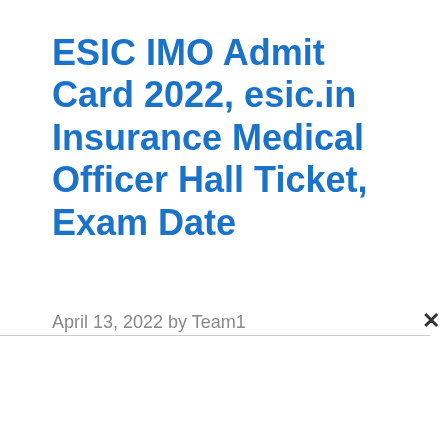ESIC IMO Admit Card 2022, esic.in Insurance Medical Officer Hall Ticket, Exam Date
April 13, 2022 by Team1